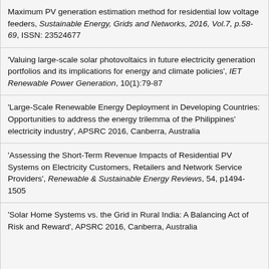Maximum PV generation estimation method for residential low voltage feeders, Sustainable Energy, Grids and Networks, 2016, Vol.7, p.58-69, ISSN: 23524677
'Valuing large-scale solar photovoltaics in future electricity generation portfolios and its implications for energy and climate policies', IET Renewable Power Generation, 10(1):79-87
'Large-Scale Renewable Energy Deployment in Developing Countries: Opportunities to address the energy trilemma of the Philippines' electricity industry', APSRC 2016, Canberra, Australia
'Assessing the Short-Term Revenue Impacts of Residential PV Systems on Electricity Customers, Retailers and Network Service Providers', Renewable & Sustainable Energy Reviews, 54, p1494-1505
'Solar Home Systems vs. the Grid in Rural India: A Balancing Act of Risk and Reward', APSRC 2016, Canberra, Australia
'Distributed energy infrastructure paradigm: community microgrids in a new institutional economics context', Renewable & Sustainable Energy Reviews, 72, p355-1365
'Short term variability of utility-scale PV in the Australian National Electricity Market', APSRC 2017, Melbourne, Australia